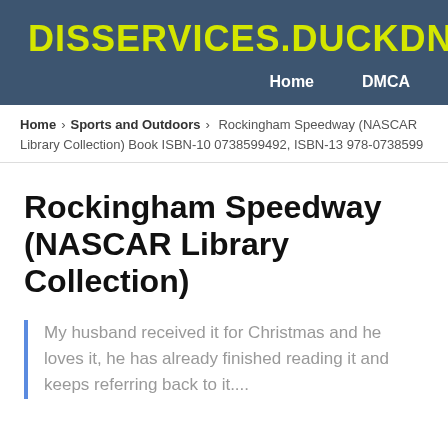DISSERVICES.DUCKDNS.ORG
Home   DMCA
Home › Sports and Outdoors › Rockingham Speedway (NASCAR Library Collection) Book ISBN-10 0738599492, ISBN-13 978-0738599
Rockingham Speedway (NASCAR Library Collection)
My husband received it for Christmas and he loves it, he has already finished reading it and keeps referring back to it....